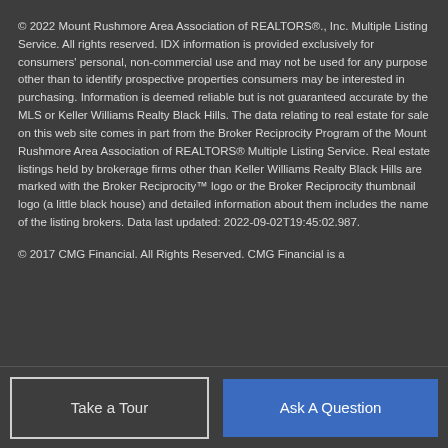© 2022 Mount Rushmore Area Association of REALTORS®., Inc. Multiple Listing Service. All rights reserved. IDX information is provided exclusively for consumers' personal, non-commercial use and may not be used for any purpose other than to identify prospective properties consumers may be interested in purchasing. Information is deemed reliable but is not guaranteed accurate by the MLS or Keller Williams Realty Black Hills. The data relating to real estate for sale on this web site comes in part from the Broker Reciprocity Program of the Mount Rushmore Area Association of REALTORS® Multiple Listing Service. Real estate listings held by brokerage firms other than Keller Williams Realty Black Hills are marked with the Broker Reciprocity™ logo or the Broker Reciprocity thumbnail logo (a little black house) and detailed information about them includes the name of the listing brokers. Data last updated: 2022-09-02T19:45:02.987.
© 2017 CMG Financial. All Rights Reserved. CMG Financial is a